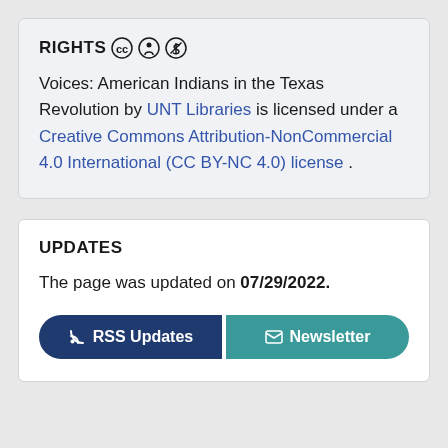RIGHTS
Voices: American Indians in the Texas Revolution by UNT Libraries is licensed under a Creative Commons Attribution-NonCommercial 4.0 International (CC BY-NC 4.0) license .
UPDATES
The page was updated on 07/29/2022.